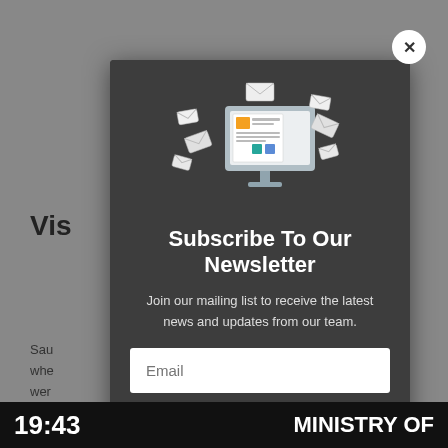Vis
Sau where wer How welc visa Visa othe visa
[Figure (illustration): Newsletter subscription modal popup with illustration of computer monitor with newspaper and flying envelopes]
Subscribe To Our Newsletter
Join our mailing list to receive the latest news and updates from our team.
Email
19:43   MINISTRY OF